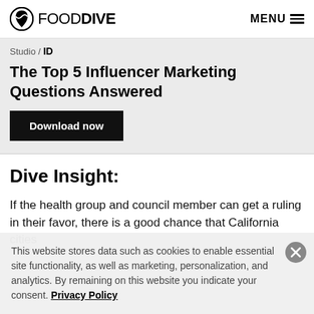FOOD DIVE | MENU
Studio / ID
The Top 5 Influencer Marketing Questions Answered
Download now
Dive Insight:
If the health group and council member can get a ruling in their favor, there is a good chance that California cities
This website stores data such as cookies to enable essential site functionality, as well as marketing, personalization, and analytics. By remaining on this website you indicate your consent. Privacy Policy